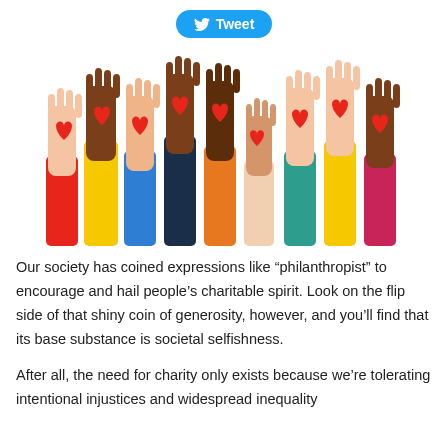[Figure (illustration): Colorful diverse hands raised with red hearts on palms, illustration of charity and community spirit]
Our society has coined expressions like “philanthropist” to encourage and hail people’s charitable spirit. Look on the flip side of that shiny coin of generosity, however, and you’ll find that its base substance is societal selfishness.
After all, the need for charity only exists because we’re tolerating intentional injustices and widespread inequality